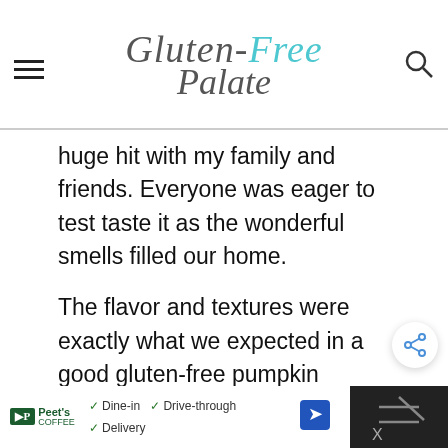Gluten-Free Palate
huge hit with my family and friends. Everyone was eager to test taste it as the wonderful smells filled our home.
The flavor and textures were exactly what we expected in a good gluten-free pumpkin bread, and the loaf stayed moist for days.
Some of us ate this pumpkin bread plain
[Figure (other): Advertisement bar at bottom: Peet's Coffee ad with Dine-in, Drive-through, Delivery options and navigation arrow icon. Dark background on right side with X close button.]